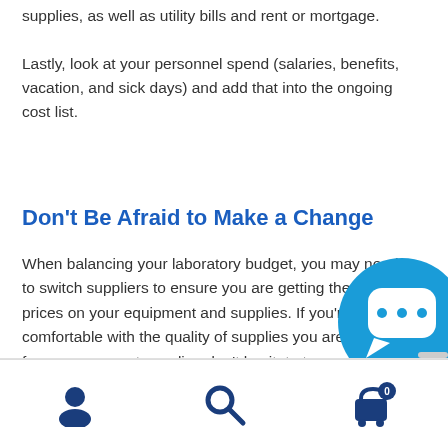supplies, as well as utility bills and rent or mortgage.
Lastly, look at your personnel spend (salaries, benefits, vacation, and sick days) and add that into the ongoing cost list.
Don’t Be Afraid to Make a Change
When balancing your laboratory budget, you may need to switch suppliers to ensure you are getting the lowest prices on your equipment and supplies. If you’re comfortable with the quality of supplies you are getting from your current supplier, don’t hesitate to reach out and try to negotiate a better price.
[Figure (infographic): Teal/blue circular chat bubble button with ellipsis icon and text CONTACT US]
Navigation bar with user icon, search icon, and cart icon with badge 0